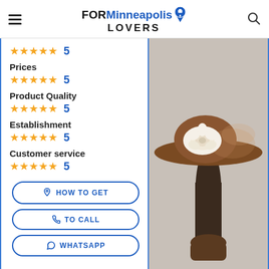FORMinneapolis LOVERS
Prices
★★★★★ 5
Product Quality
★★★★★ 5
Establishment
★★★★★ 5
Customer service
★★★★★ 5
[Figure (photo): A brown wide-brim hat with a large white rose decoration and brown tulle, displayed on a dark mannequin head stand]
HOW TO GET
TO CALL
WHATSAPP